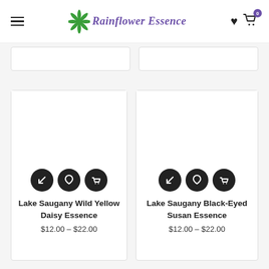Rainflower Essence
[Figure (screenshot): Partially visible product cards from previous row]
Lake Saugany Wild Yellow Daisy Essence
$12.00 – $22.00
Lake Saugany Black-Eyed Susan Essence
$12.00 – $22.00